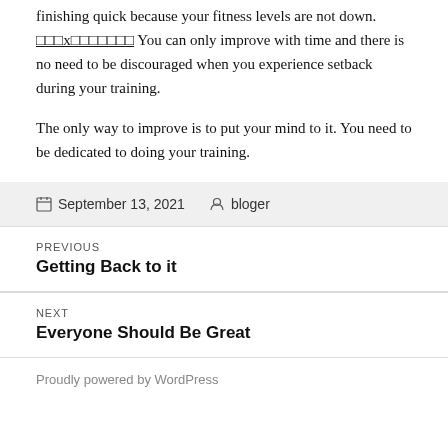finishing quick because your fitness levels are not down. ☐☐☐x☐☐☐☐☐☐☐ You can only improve with time and there is no need to be discouraged when you experience setback during your training.
The only way to improve is to put your mind to it. You need to be dedicated to doing your training.
September 13, 2021   bloger
PREVIOUS
Getting Back to it
NEXT
Everyone Should Be Great
Proudly powered by WordPress